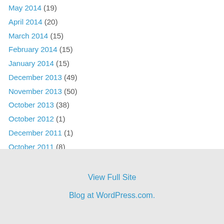May 2014 (19)
April 2014 (20)
March 2014 (15)
February 2014 (15)
January 2014 (15)
December 2013 (49)
November 2013 (50)
October 2013 (38)
October 2012 (1)
December 2011 (1)
October 2011 (8)
September 2011 (4)
View Full Site
Blog at WordPress.com.